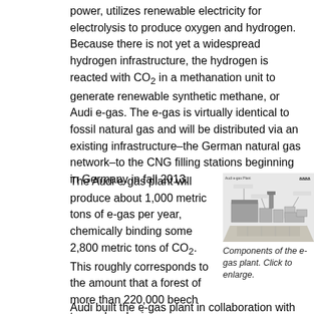power, utilizes renewable electricity for electrolysis to produce oxygen and hydrogen. Because there is not yet a widespread hydrogen infrastructure, the hydrogen is reacted with CO₂ in a methanation unit to generate renewable synthetic methane, or Audi e-gas. The e-gas is virtually identical to fossil natural gas and will be distributed via an existing infrastructure–the German natural gas network–to the CNG filling stations beginning in Germany in fall 2013.
The Audi e-gas plant will produce about 1,000 metric tons of e-gas per year, chemically binding some 2,800 metric tons of CO₂. This roughly corresponds to the amount that a forest of more than 220,000 beech trees absorbs in one year. Water and oxygen are the only by-products.
[Figure (illustration): Aerial/isometric illustration of the Audi e-gas plant components, showing various buildings and infrastructure with labels. Audi logo in top right corner.]
Components of the e-gas plant. Click to enlarge.
Audi built the e-gas plant in collaboration with the plant